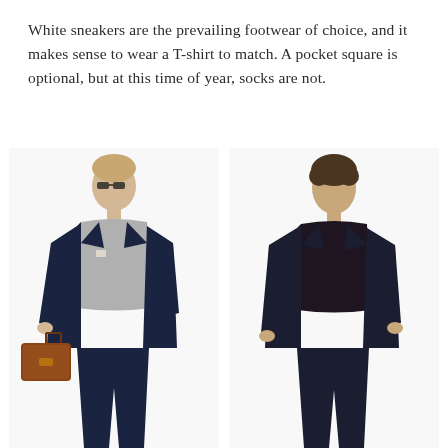White sneakers are the prevailing footwear of choice, and it makes sense to wear a T-shirt to match. A pocket square is optional, but at this time of year, socks are not.
[Figure (photo): Two male models wearing navy blazers. Left model wears a grey t-shirt, dark trousers, sunglasses, and carries a brown leather bag. Right model wears a dark t-shirt and dark trousers with hands in pockets.]